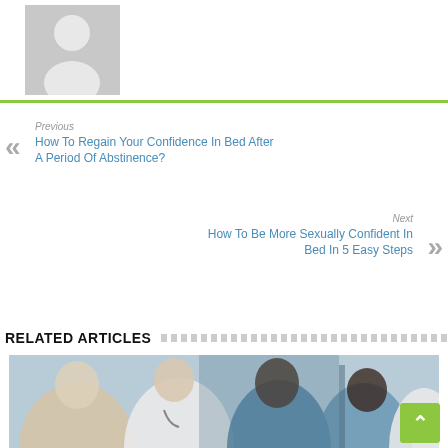[Figure (illustration): Gray placeholder avatar icon showing silhouette of a person, within a light gray rectangle]
Previous
How To Regain Your Confidence In Bed After A Period Of Abstinence?
Next
How To Be More Sexually Confident In Bed In 5 Easy Steps
RELATED ARTICLES
[Figure (photo): Photo of a group of medical professionals in white coats and scrubs having a discussion]